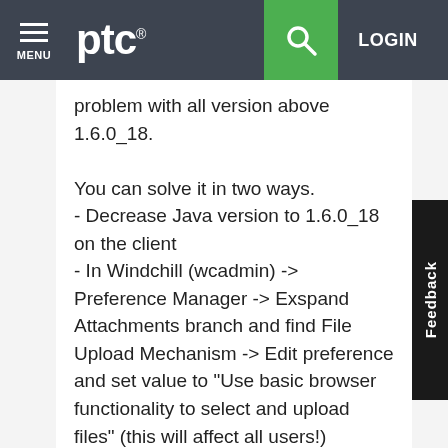ptc® MENU | Search | LOGIN
problem with all version above 1.6.0_18.
You can solve it in two ways.
- Decrease Java version to 1.6.0_18 on the client
- In Windchill (wcadmin) -> Preference Manager -> Exspand Attachments branch and find File Upload Mechanism -> Edit preference and set value to "Use basic browser functionality to select and upload files" (this will affect all users!)
Regards